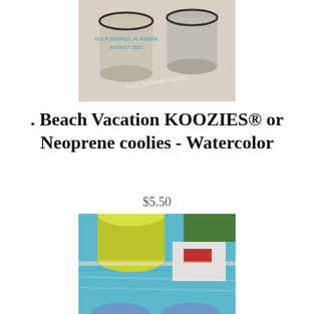[Figure (photo): Photo of custom koozies on a sandy surface with text 'GULF SHORES, ALABAMA AUGUST 2021' and a SewCuteByMeDesigns watermark]
. Beach Vacation KOOZIES® or Neoprene coolies - Watercolor
$5.50
[Figure (photo): Photo of colorful koozies floating in a pool with blue water and green plants in the background]